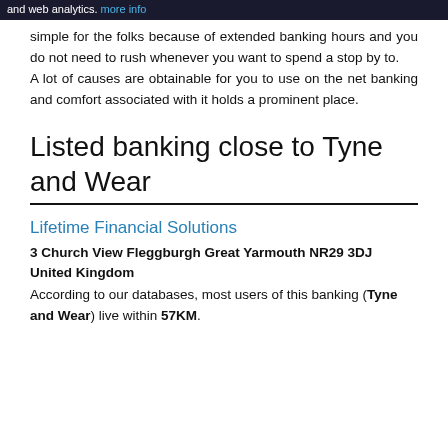and web analytics. more info
simple for the folks because of extended banking hours and you do not need to rush whenever you want to spend a stop by to.
A lot of causes are obtainable for you to use on the net banking and comfort associated with it holds a prominent place.
Listed banking close to Tyne and Wear
Lifetime Financial Solutions
3 Church View Fleggburgh Great Yarmouth NR29 3DJ United Kingdom
According to our databases, most users of this banking (Tyne and Wear) live within 57KM.